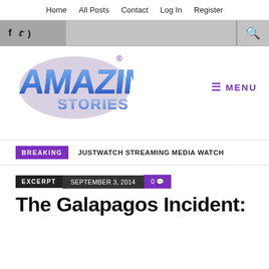Home  All Posts  Contact  Log In  Register
[Figure (logo): Amazing Stories logo — stylized blue/purple metallic lettering with registered trademark symbol]
☰ MENU
BREAKING   JUSTWATCH STREAMING MEDIA WATCH
EXCERPT   SEPTEMBER 3, 2014   0
The Galapagos Incident: